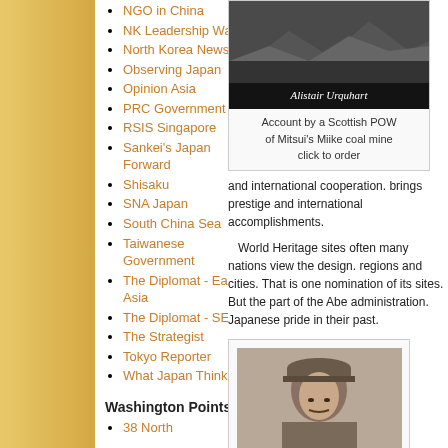NGO in China
NK Leadership Watch
North Korea News
Observing Japan
Opinion Asia
PRC Government
RSIS Singapore
Sankei's Japan Forward
Shisaku
SNA Japan
South China Sea
Taiwanese Government
The Diplomat - East Asia
The Diplomat - SEAsia
The Strategist
Tokyo Reporter
What Japan Thinks
Washington Points
38 North
[Figure (photo): Book cover showing Alistair Urquhart, with text 'Alistair Urquhart']
Account by a Scottish POW of Mitsui's Miike coal mine
click to order
and international cooperation. brings prestige and international accomplishments.
World Heritage sites often many nations view the designation. regions and cities. That is one nomination of its sites. But the part of the Abe administration. Japanese pride in their past.
[Figure (photo): Black and white portrait of a soldier in military uniform and cap]